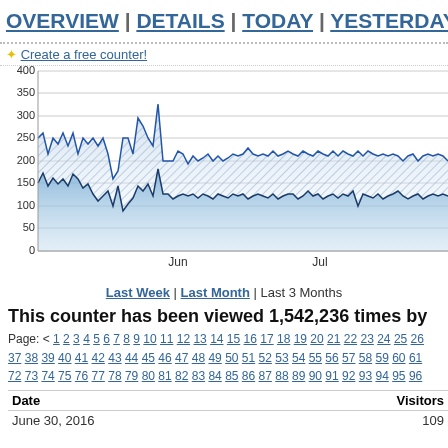OVERVIEW | DETAILS | TODAY | YESTERDAY |
✦ Create a free counter!
[Figure (area-chart): Area chart showing two overlapping area series of visitor counts over approximately 3 months. Y-axis: 0 to 400. X-axis labels: Jun, Jul. Lower filled area (blue gradient) represents one metric (~130-200 range). Upper line/area (hatched pattern) shows peaks up to ~325.]
Last Week | Last Month | Last 3 Months
This counter has been viewed 1,542,236 times by
Page: < 1 2 3 4 5 6 7 8 9 10 11 12 13 14 15 16 17 18 19 20 21 22 23 24 25 26 37 38 39 40 41 42 43 44 45 46 47 48 49 50 51 52 53 54 55 56 57 58 59 60 61 72 73 74 75 76 77 78 79 80 81 82 83 84 85 86 87 88 89 90 91 92 93 94 95 96
| Date | Visitors |
| --- | --- |
| June 30, 2016 | 109 |